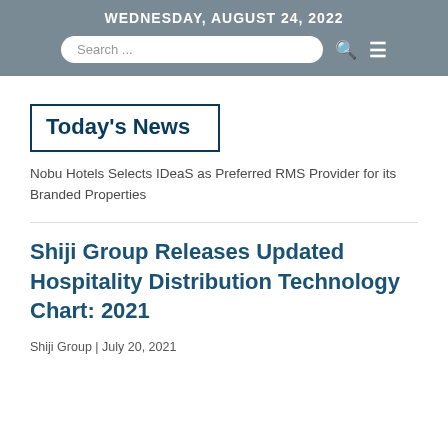WEDNESDAY, AUGUST 24, 2022
Today's News
Nobu Hotels Selects IDeaS as Preferred RMS Provider for its Branded Properties
Shiji Group Releases Updated Hospitality Distribution Technology Chart: 2021
Shiji Group | July 20, 2021